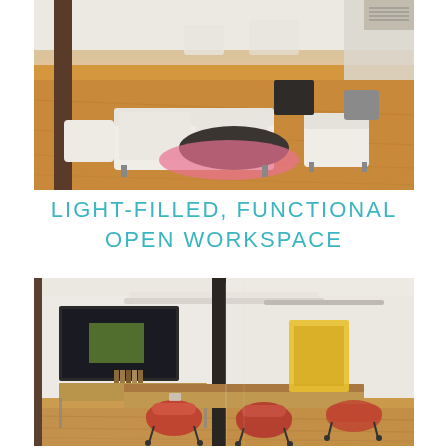[Figure (photo): Interior photo of a light-filled open workspace with white sofas, chairs, a dark oval coffee table, pink accent rug, and hardwood floors, viewed from above and behind the seating area.]
LIGHT-FILLED, FUNCTIONAL
OPEN WORKSPACE
[Figure (photo): Interior photo of a modern conference room with red/orange chairs around a wood table, a large wall-mounted TV screen, yellow wall art, and glass partition walls with a dark structural column, viewed through a glass door.]